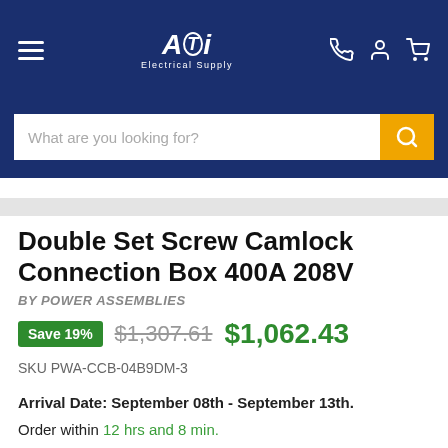ATi Electrical Supply
Double Set Screw Camlock Connection Box 400A 208V
BY POWER ASSEMBLIES
Save 19% $1,307.61 $1,062.43
SKU PWA-CCB-04B9DM-3
Arrival Date: September 08th - September 13th. Order within 12 hrs and 8 min. Need the item sooner? Contact us at ppg@atielectrical.com